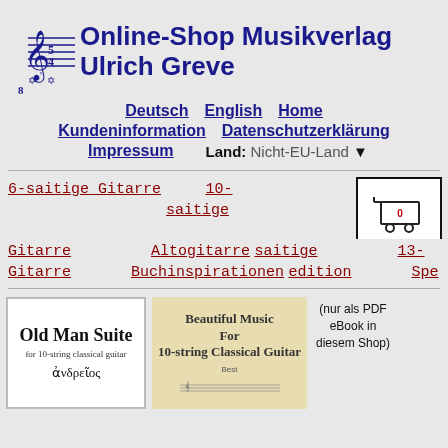Online-Shop Musikverlag Ulrich Greve
Deutsch | English | Home
Kundeninformation | Datenschutzerklärung
Impressum | Land: Nicht-EU-Land
6-saitige Gitarre | 10-saitige
Gitarre | Altogitarre | 13-
Gitarre | Buchinspirationen edition | Spe-
[Figure (illustration): Shopping cart icon with red 0 inside, in a bordered box]
[Figure (illustration): Book cover: Old Man Suite for 10-string classical guitar, andreibos]
[Figure (illustration): Book cover: Beautiful Music For 10-string Classical Guitar]
(nur als PDF eBook in diesem Shop)